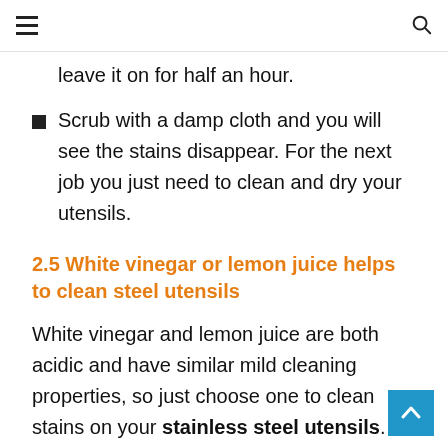≡  [search icon]
leave it on for half an hour.
Scrub with a damp cloth and you will see the stains disappear. For the next job you just need to clean and dry your utensils.
2.5 White vinegar or lemon juice helps to clean steel utensils
White vinegar and lemon juice are both acidic and have similar mild cleaning properties, so just choose one to clean stains on your stainless steel utensils.
Apply vinegar or lemon juice directly to a